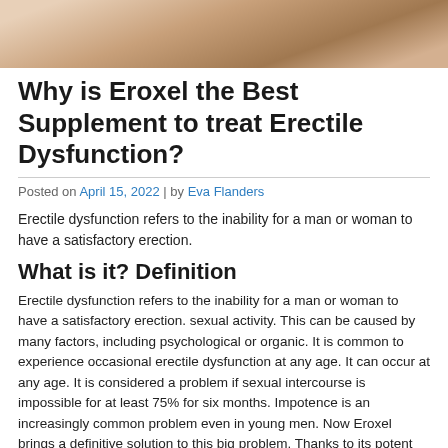[Figure (photo): Partial view of a person sitting, cropped at top of page]
Why is Eroxel the Best Supplement to treat Erectile Dysfunction?
Posted on April 15, 2022 | by Eva Flanders
Erectile dysfunction refers to the inability for a man or woman to have a satisfactory erection.
What is it? Definition
Erectile dysfunction refers to the inability for a man or woman to have a satisfactory erection. sexual activity. This can be caused by many factors, including psychological or organic. It is common to experience occasional erectile dysfunction at any age. It can occur at any age. It is considered a problem if sexual intercourse is impossible for at least 75% for six months. Impotence is an increasingly common problem even in young men. Now Eroxel brings a definitive solution to this big problem. Thanks to its potent ingredients its effectiveness is guaranteed: Eroxel Original
What causes this? Possible Causes
It is a complicated process. Sensitivity stimuli stimulate brain centers that transmit stimulation signals to the spinal cord. There, nerve impulses are sent